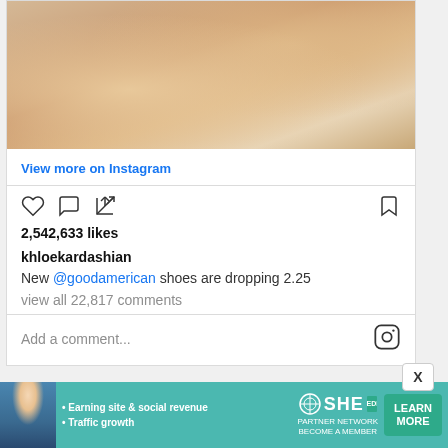[Figure (photo): Close-up photo of a person's arm resting near a tan/beige suede shoe on a light surface, cropped at top of Instagram post]
View more on Instagram
[Figure (infographic): Instagram action icons: heart (like), comment bubble, share/upload arrow on left; bookmark icon on right]
2,542,633 likes
khloekardashian
New @goodamerican shoes are dropping 2.25
view all 22,817 comments
Add a comment...
[Figure (logo): Instagram logo icon (camera outline)]
[Figure (infographic): SHE Partner Network advertisement banner with person photo, bullet points about earning site & social revenue and traffic growth, SHE logo, and Learn More button]